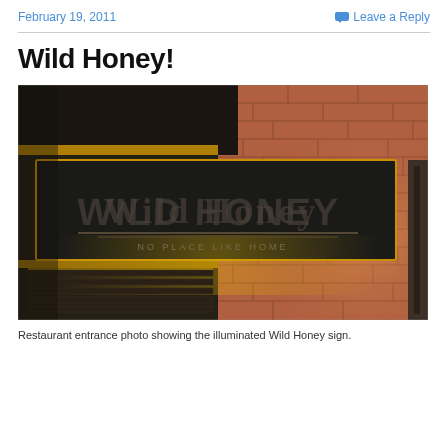February 19, 2011    Leave a Reply
Wild Honey!
[Figure (photo): Photograph of the Wild Honey restaurant sign mounted on a brick wall. The sign is a dark rectangular panel with yellow/amber backlit lighting, displaying 'WILD HONEY' in large stylized lettering and 'NO PLACE LIKE HOME' underneath in smaller text. The surrounding wall is exposed brick with warm lighting.]
Restaurant entrance photo showing the illuminated Wild Honey sign.